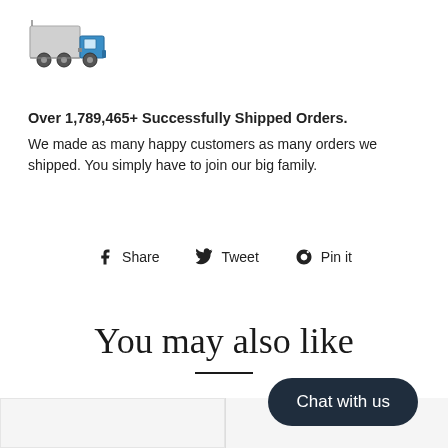[Figure (illustration): Delivery truck icon with blue cab and grey trailer]
Over 1,789,465+ Successfully Shipped Orders. We made as many happy customers as many orders we shipped. You simply have to join our big family.
f Share   Tweet   Pin it
You may also like
[Figure (other): Bottom portion of product recommendation cards partially visible]
Chat with us